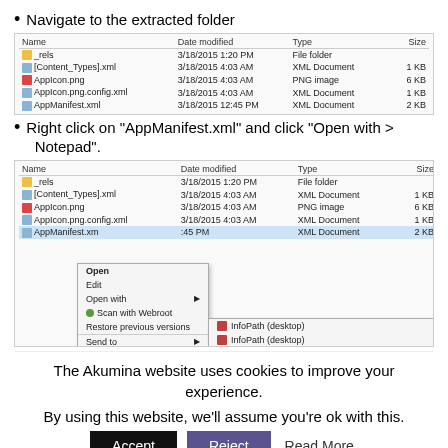Navigate to the extracted folder
[Figure (screenshot): Windows Explorer file listing showing _rels (File folder), [Content_Types].xml (XML Document, 1 KB), AppIcon.png (PNG image, 6 KB), AppIcon.png.config.xml (XML Document, 1 KB), AppManifest.xml (XML Document, 2 KB) all dated 3/18/2015]
Right click on "AppManifest.xml" and click "Open with > Notepad".
[Figure (screenshot): Windows Explorer file listing with context menu open on AppManifest.xml showing Open, Edit, Open with submenu, Scan with Webroot, Restore previous versions, Send to, Cut, Copy options. Open with submenu shows InfoPath (desktop), InfoPath (desktop), Microsoft Visual Studio Express 2012 for Windows Desktop, Microsoft Word, Notepad (highlighted with Click bubble), Office XML Handler, WordPad]
The Akumina website uses cookies to improve your experience.
By using this website, we'll assume you're ok with this.